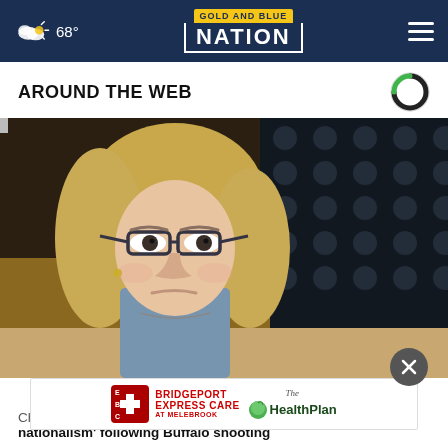68° Gold and Blue Nation
AROUND THE WEB
[Figure (photo): Woman with blonde hair and glasses sitting at a congressional hearing, looking serious. An American flag is visible in the background. A nameplate partially reading 'MR. RASKIN' is visible on the desk.]
[Figure (other): Advertisement: Bridgeport Express Care at Melebrook and The Health Plan]
Che... ite nationalism' following Buffalo shooting